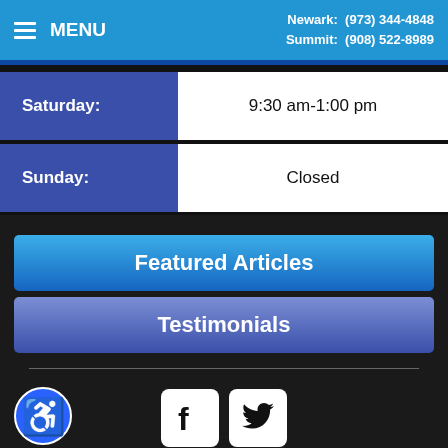MENU | Newark: (973) 344-4848 | Summit: (908) 522-8989
| Day | Hours |
| --- | --- |
| Saturday: | 9:30 am-1:00 pm |
| Sunday: | Closed |
Featured Articles
Testimonials